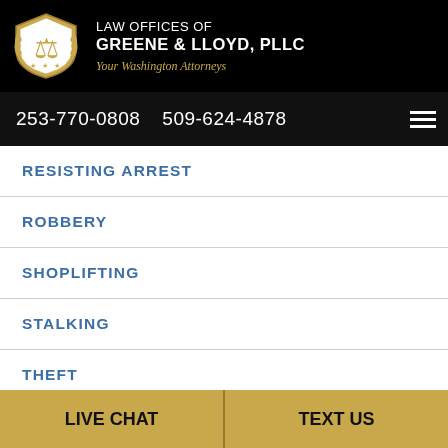[Figure (logo): Law Offices of Greene & Lloyd, PLLC logo with shield emblem and Lady Justice on black background]
253-770-0808   509-624-4878
RESISTING ARREST
ROBBERY
SHOPLIFTING
STALKING
THEFT
LIVE CHAT   TEXT US